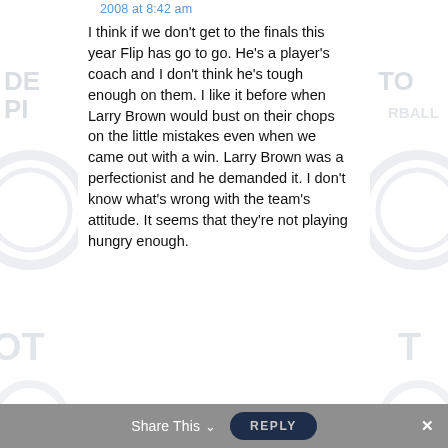2008 at 8:42 am
I think if we don't get to the finals this year Flip has go to go. He's a player's coach and I don't think he's tough enough on them. I like it before when Larry Brown would bust on their chops on the little mistakes even when we came out with a win. Larry Brown was a perfectionist and he demanded it. I don't know what's wrong with the team's attitude. It seems that they're not playing hungry enough.
Share This  REPLY  ×